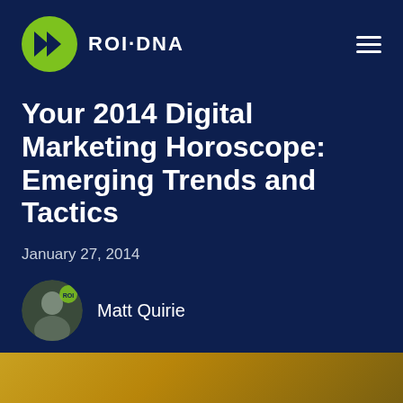[Figure (logo): ROI·DNA logo: green circle with white double arrow icon, followed by ROI·DNA wordmark in white]
Your 2014 Digital Marketing Horoscope: Emerging Trends and Tactics
January 27, 2014
[Figure (photo): Circular avatar photo of Matt Quirie with ROI logo watermark overlay]
Matt Quirie
[Figure (infographic): Social media share icons: Facebook (f), Twitter (bird), LinkedIn (in) — all in lime green]